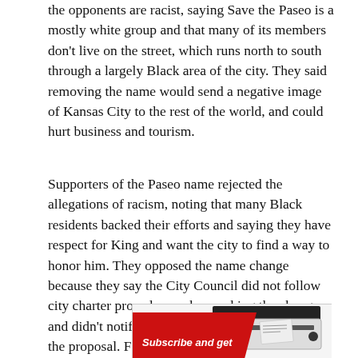the opponents are racist, saying Save the Paseo is a mostly white group and that many of its members don't live on the street, which runs north to south through a largely Black area of the city. They said removing the name would send a negative image of Kansas City to the rest of the world, and could hurt business and tourism.
Supporters of the Paseo name rejected the allegations of racism, noting that many Black residents backed their efforts and saying they have respect for King and want the city to find a way to honor him. They opposed the name change because they say the City Council did not follow city charter procedures when making the change and didn't notify most residents on the street about the proposal. Former council member Alissa Canady, who is Black, was among those who said the process disenfranchised the mostly black residents of the boulevard.
[Figure (other): Advertisement image showing a mailbox/newspaper slot with a red diagonal stripe and the text 'Subscribe and get' in white italic bold font on red background]